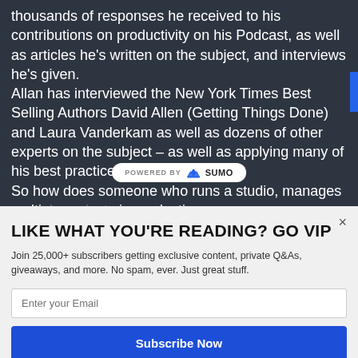Allan specifically wrote this guide, after the thousands of responses he received to his contributions on productivity on his Podcast, as well as articles he's written on the subject, and interviews he's given. Allan has interviewed the New York Times Best Selling Authors David Allen (Getting Things Done) and Laura Vanderkam as well as dozens of other experts on the subject – as well as applying many of his best practices. So how does someone who runs a studio, manages multiple projects in production,
[Figure (logo): POWERED BY SUMO badge/logo pill in white rounded rectangle]
LIKE WHAT YOU'RE READING? GO VIP
Join 25,000+ subscribers getting exclusive content, private Q&As, giveaways, and more. No spam, ever. Just great stuff.
Enter your Email
Subscribe Now